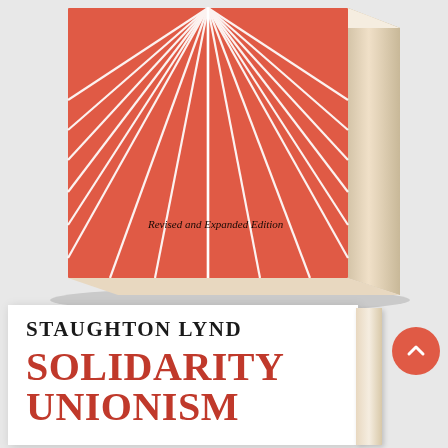[Figure (photo): 3D render of a book with a coral/salmon red cover featuring white radiating lines from the top, with text 'Revised and Expanded Edition' on the front. The book is shown in a three-quarter angle view with visible spine and pages on a light grey background.]
[Figure (photo): Front view of same book showing white cover with author name 'STAUGHTON LYND' in bold dark text and title 'SOLIDARITY UNIONISM' in large bold red text. A coral red circular scroll-up button is visible to the right.]